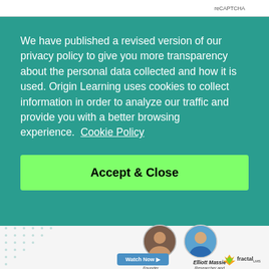reCAPTCHA
We have published a revised version of our privacy policy to give you more transparency about the personal data collected and how it is used. Origin Learning uses cookies to collect information in order to analyze our traffic and provide you with a better browsing experience.  Cookie Policy
Accept & Close
[Figure (photo): Photo of Craig Weiss, Founder of Find An LMS]
[Figure (photo): Photo of Elliott Massie, Researcher and Educational Technology Expert]
Craig Weiss
Founder
Find An LMS
Elliott Massie
Researcher and Educational Technology Expert
Watch Now
[Figure (logo): Fractal LMS logo]